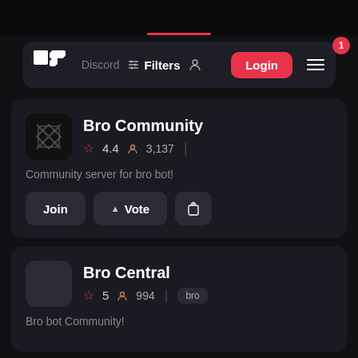[Figure (screenshot): Top black area with a pink/red horizontal line indicator at bottom center]
Discord  Filters   Login
Bro Community
4.4   3,137
Community server for bro bot!
Join  Vote  [share]
Bro Central
5   994   bro
Bro bot Community!